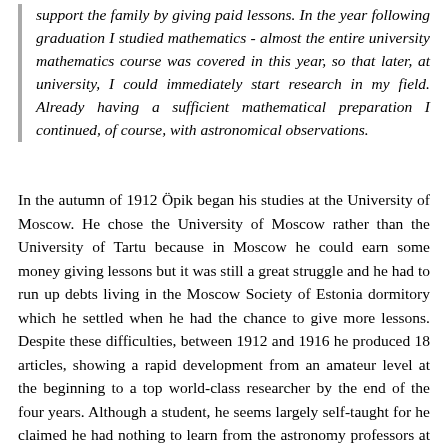support the family by giving paid lessons. In the year following graduation I studied mathematics - almost the entire university mathematics course was covered in this year, so that later, at university, I could immediately start research in my field. Already having a sufficient mathematical preparation I continued, of course, with astronomical observations.
In the autumn of 1912 Öpik began his studies at the University of Moscow. He chose the University of Moscow rather than the University of Tartu because in Moscow he could earn some money giving lessons but it was still a great struggle and he had to run up debts living in the Moscow Society of Estonia dormitory which he settled when he had the chance to give more lessons. Despite these difficulties, between 1912 and 1916 he produced 18 articles, showing a rapid development from an amateur level at the beginning to a top world-class researcher by the end of the four years. Although a student, he seems largely self-taught for he claimed he had nothing to learn from the astronomy professors at the University of Moscow, Vitold Czerask (1849-1925) and Pavel Sternberg (1865-1920). He graduated with an astronomy degree in 1916 and continued to work to qualify as a university professor.
The Russian Revolution of 1917 saw the country enter political